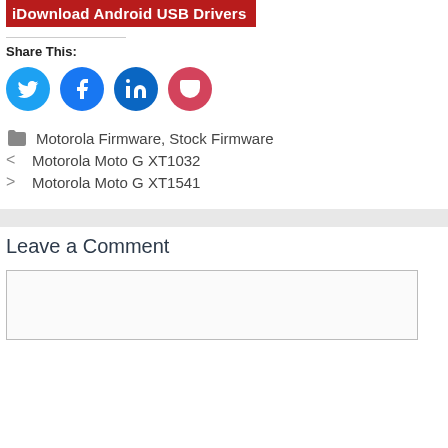iDownload Android USB Drivers
Share This:
[Figure (infographic): Social sharing icons: Twitter (cyan), Facebook (blue), LinkedIn (dark blue), Pocket (pink/red)]
Motorola Firmware, Stock Firmware
< Motorola Moto G XT1032
> Motorola Moto G XT1541
Leave a Comment